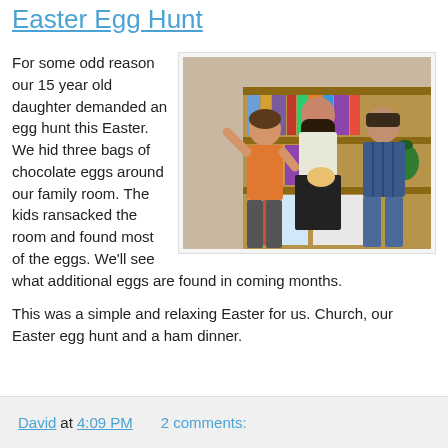Easter Egg Hunt
[Figure (photo): Three teenagers standing in front of a bookshelf. Left: boy in orange shirt making a gesture. Center: girl with long dark hair holding an Easter egg basket. Right: boy in blue striped shirt.]
For some odd reason our 15 year old daughter demanded an egg hunt this Easter. We hid three bags of chocolate eggs around our family room. The kids ransacked the room and found most of the eggs. We'll see what additional eggs are found in coming months.
This was a simple and relaxing Easter for us. Church, our Easter egg hunt and a ham dinner.
David at 4:09 PM   2 comments: